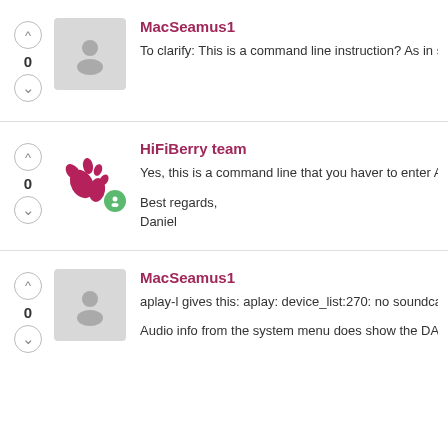MacSeamus1
To clarify: This is a command line instruction?  As in ss
HiFiBerry team
Yes, this is a command line that you haver to enter AFT
Best regards,
Daniel
MacSeamus1
aplay-l gives this:  aplay: device_list:270: no soundcard
Audio info from the system menu does show the DAC,